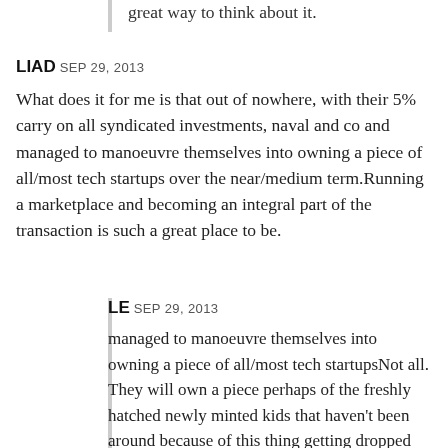great way to think about it.
LIAD SEP 29, 2013
What does it for me is that out of nowhere, with their 5% carry on all syndicated investments, naval and co and managed to manoeuvre themselves into owning a piece of all/most tech startups over the near/medium term.Running a marketplace and becoming an integral part of the transaction is such a great place to be.
LE SEP 29, 2013
managed to manoeuvre themselves into owning a piece of all/most tech startupsNot all. They will own a piece perhaps of the freshly hatched newly minted kids that haven't been around because of this thing getting dropped into their head while impressionable. [1][2] So some kid who is 18 and starts to look at this stuff will not know the history